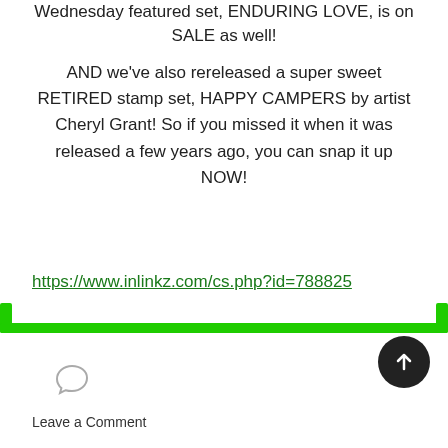Wednesday featured set, ENDURING LOVE, is on SALE as well!
AND we've also rereleased a super sweet RETIRED stamp set, HAPPY CAMPERS by artist Cheryl Grant! So if you missed it when it was released a few years ago, you can snap it up NOW!
https://www.inlinkz.com/cs.php?id=788825
Leave a Comment